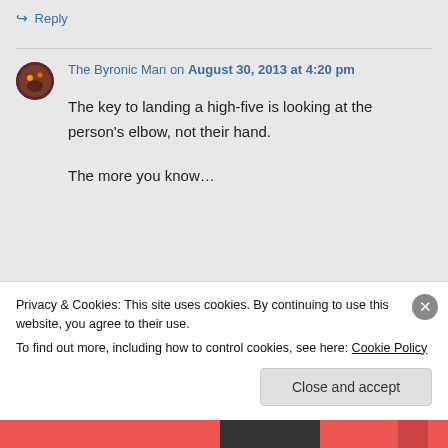↪ Reply
The Byronic Man on August 30, 2013 at 4:20 pm
The key to landing a high-five is looking at the person's elbow, not their hand.

The more you know…
Privacy & Cookies: This site uses cookies. By continuing to use this website, you agree to their use.
To find out more, including how to control cookies, see here: Cookie Policy